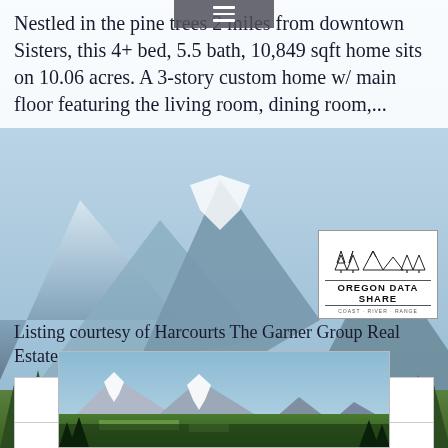Nestled in the pine trees 2 miles from downtown Sisters, this 4+ bed, 5.5 bath, 10,849 sqft home sits on 10.06 acres. A 3-story custom home w/ main floor featuring the living room, dining room,...
[Figure (logo): Oregon Data Share logo with pine trees and mountain icon]
Listing courtesy of Harcourts The Garner Group Real Estate
| Photo Gallery (98) |
| View Details |
[Figure (photo): Panoramic mountain landscape photo showing snow-capped mountains, green forests and fields, taken from aerial perspective near Sisters, Oregon]